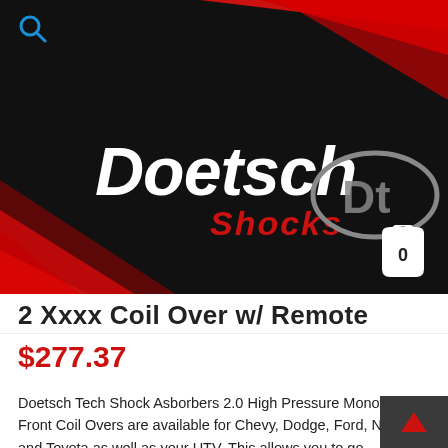Doetsch Shocks - header banner with logo
2 Xxxx Coil Over w/ Remote
$277.37
Doetsch Tech Shock Asborbers 2.0 High Pressure Monotube Front Coil Overs are available for Chevy, Dodge, Ford, Nissan and Toyota as well as your UTV. This allows you to go...
YEAR
MAKE